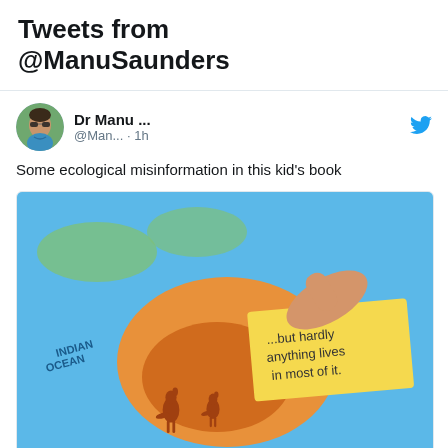Tweets from @ManuSaunders
Dr Manu ... @Man... · 1h
Some ecological misinformation in this kid's book
[Figure (photo): Photo of a kid's book page showing a map with text '...but hardly anything lives in most of it.' overlaid on what appears to be Australia on a colorful illustrated map, with text 'INDIAN OCEAN' and 'Great Barrier Reef' visible.]
5  28
Dr Manu Saunders Retweeted
Ecologica...